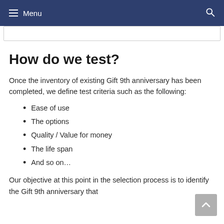Menu
How do we test?
Once the inventory of existing Gift 9th anniversary has been completed, we define test criteria such as the following:
Ease of use
The options
Quality / Value for money
The life span
And so on…
Our objective at this point in the selection process is to identify the Gift 9th anniversary that